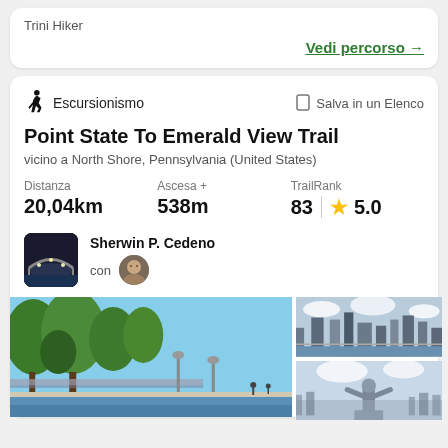Trini Hiker
Vedi percorso →
Escursionismo
Salva in un Elenco
Point State To Emerald View Trail
vicino a North Shore, Pennsylvania (United States)
Distanza
20,04km
Ascesa +
538m
TrailRank
83 ★ 5.0
Sherwin P. Cedeno
con
[Figure (photo): Main photo showing trees and waterfront park, city in background]
[Figure (photo): Top-right photo showing city skyline across river]
[Figure (photo): Bottom-right photo showing a statue with cityscape background]